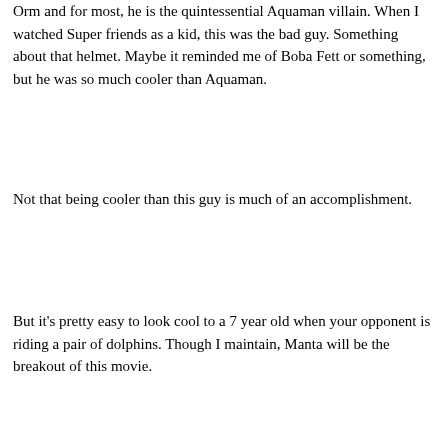Orm and for most, he is the quintessential Aquaman villain. When I watched Super friends as a kid, this was the bad guy. Something about that helmet. Maybe it reminded me of Boba Fett or something, but he was so much cooler than Aquaman.
Not that being cooler than this guy is much of an accomplishment.
But it's pretty easy to look cool to a 7 year old when your opponent is riding a pair of dolphins. Though I maintain, Manta will be the breakout of this movie.